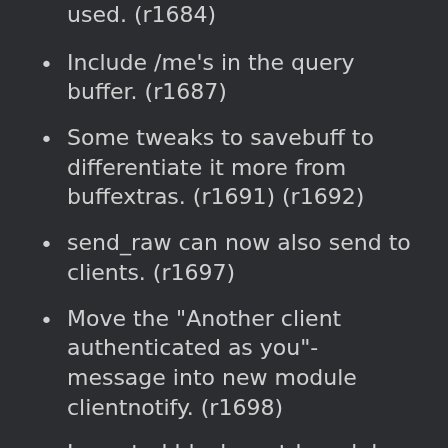used. (r1684)
Include /me's in the query buffer. (r1687)
Some tweaks to savebuff to differentiate it more from buffextras. (r1691) (r1692)
send_raw can now also send to clients. (r1697)
Move the "Another client authenticated as you"-message into new module clientnotify. (r1698)
Imported block_motd module into extra. (r1700)
Imported flooddetach into extra. (r1701) (r1717)
Added new setting ServerThrottle which sets a timeout between connections to the same server. (r1703) (r1705)